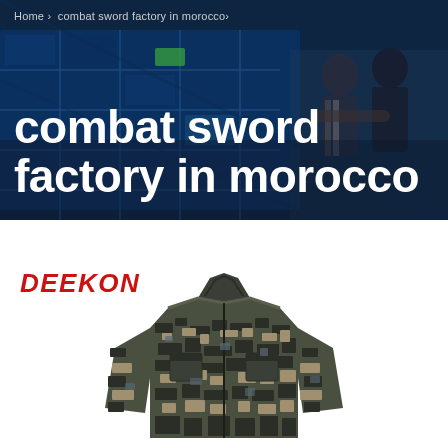Home > combat sword factory in morocco>
combat sword factory in morocco
[Figure (photo): Hero banner background showing solar panels and workers in dark blue tones]
[Figure (photo): Product photo of a digital camouflage military jacket/uniform top, shown from front, with DEEKON brand logo in red italic text above it]